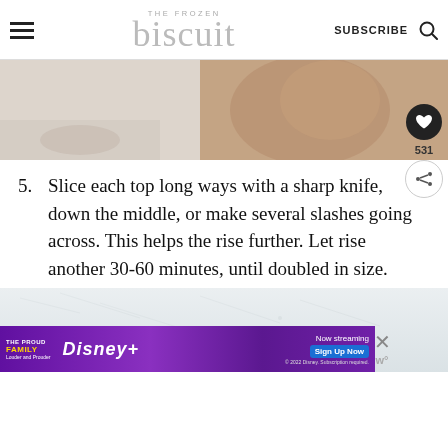THE FROZEN biscuit | SUBSCRIBE
[Figure (photo): Close-up photo of dough on a light wooden surface, showing hands or dough texture, warm beige tones.]
5. Slice each top long ways with a sharp knife, down the middle, or make several slashes going across. This helps the rise further. Let rise another 30-60 minutes, until doubled in size.
[Figure (photo): Photo of dough with white/light grey textured surface, showing risen dough or flour-dusted surface.]